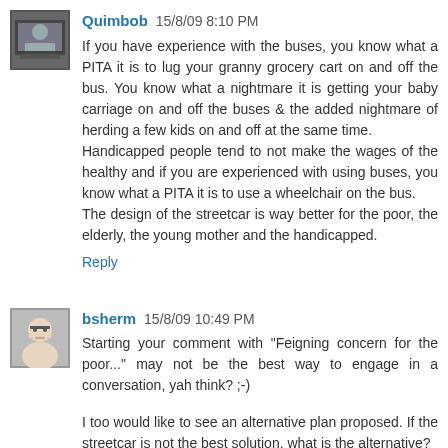[Figure (photo): Avatar image for user Quimbob showing a person on a bus]
Quimbob 15/8/09 8:10 PM
If you have experience with the buses, you know what a PITA it is to lug your granny grocery cart on and off the bus. You know what a nightmare it is getting your baby carriage on and off the buses & the added nightmare of herding a few kids on and off at the same time.
Handicapped people tend to not make the wages of the healthy and if you are experienced with using buses, you know what a PITA it is to use a wheelchair on the bus.
The design of the streetcar is way better for the poor, the elderly, the young mother and the handicapped.
Reply
[Figure (photo): Avatar image for user bsherm showing a person with glasses]
bsherm 15/8/09 10:49 PM
Starting your comment with "Feigning concern for the poor..." may not be the best way to engage in a conversation, yah think? ;-)
I too would like to see an alternative plan proposed. If the streetcar is not the best solution, what is the alternative?